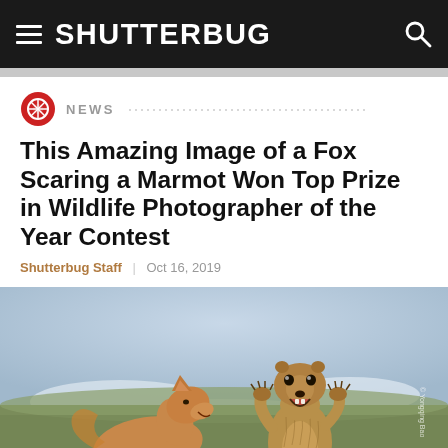SHUTTERBUG
NEWS
This Amazing Image of a Fox Scaring a Marmot Won Top Prize in Wildlife Photographer of the Year Contest
Shutterbug Staff | Oct 16, 2019
[Figure (photo): Wildlife photograph showing a fox confronting a startled marmot that is rearing up on its hind legs with its mouth open and arms raised, set against a blurred snowy and green background.]